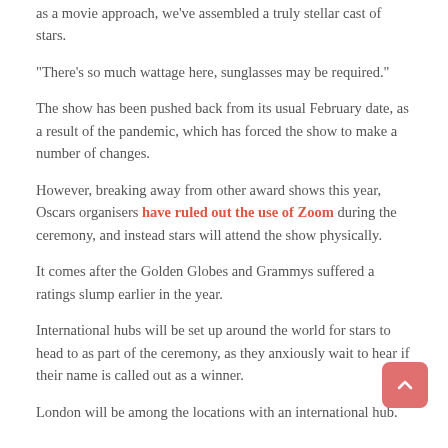as a movie approach, we've assembled a truly stellar cast of stars.
“There’s so much wattage here, sunglasses may be required.”
The show has been pushed back from its usual February date, as a result of the pandemic, which has forced the show to make a number of changes.
However, breaking away from other award shows this year, Oscars organisers have ruled out the use of Zoom during the ceremony, and instead stars will attend the show physically.
It comes after the Golden Globes and Grammys suffered a ratings slump earlier in the year.
International hubs will be set up around the world for stars to head to as part of the ceremony, as they anxiously wait to hear if their name is called out as a winner.
London will be among the locations with an international hub.